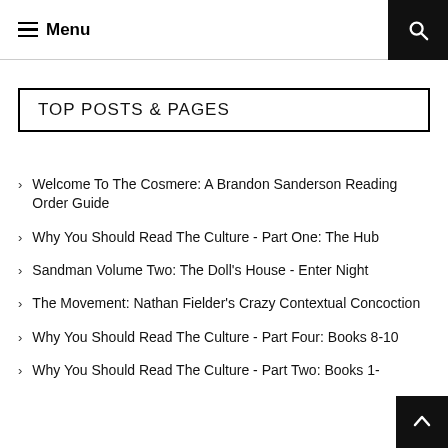Menu
TOP POSTS & PAGES
Welcome To The Cosmere: A Brandon Sanderson Reading Order Guide
Why You Should Read The Culture - Part One: The Hub
Sandman Volume Two: The Doll's House - Enter Night
The Movement: Nathan Fielder's Crazy Contextual Concoction
Why You Should Read The Culture - Part Four: Books 8-10
Why You Should Read The Culture - Part Two: Books 1-